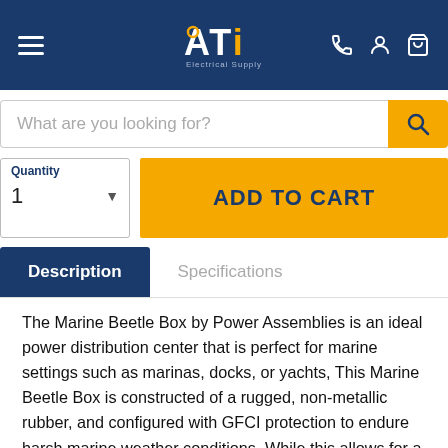ATi Electrical Supply
[Figure (screenshot): Search bar with placeholder text 'What are you looking for?' and orange search button]
Quantity 1
ADD TO CART
Description
Specifications
The Marine Beetle Box by Power Assemblies is an ideal power distribution center that is perfect for marine settings such as marinas, docks, or yachts, This Marine Beetle Box is constructed of a rugged, non-metallic rubber, and configured with GFCI protection to endure harsh marine weather conditions. While this allows for a stronger, safer, and more portable way to distribute power in any marine environment, it is not limited to wet-location settings and can be optimized in industrial fields, as well. For project-based pricing or any marine products not listed on our site, please contact us at (954)-644-